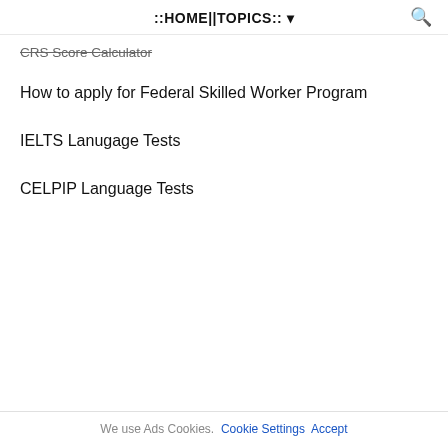::HOME||TOPICS:: ▾
CRS Score Calculator
How to apply for Federal Skilled Worker Program
IELTS Lanugage Tests
CELPIP Language Tests
We use Ads Cookies. Cookie Settings Accept